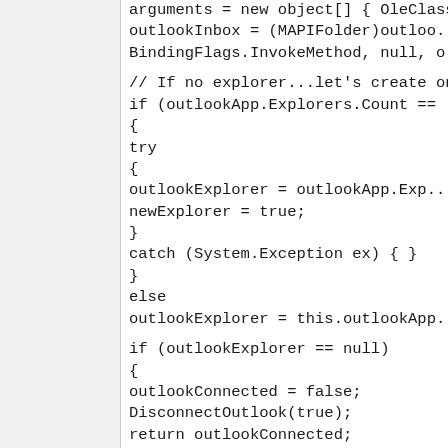[Figure (other): Left panel / sidebar area, appears to be a navigation or blank panel in a code viewer]
arguments = new object[] { OleClass outlookInbox = (MAPIFolder)outlo... BindingFlags.InvokeMethod, null, o

// If no explorer...let's create one fo...
if (outlookApp.Explorers.Count ==
{
try
{
outlookExplorer = outlookApp.Exp...
newExplorer = true;
}
catch (System.Exception ex) { }
}
else
outlookExplorer = this.outlookApp....

if (outlookExplorer == null)
{
outlookConnected = false;
DisconnectOutlook(true);
return outlookConnected;
}

securityManager1.ConnectTo(outlo...
// switch OFF
securityManager1.DisableOOMWa...

recipient = outlookNamespace.Ge...
outlookNamespace, null);
outlookName = Convert.ToString(...